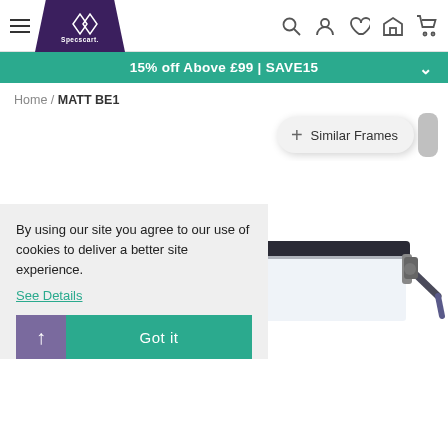Specscart navigation header with hamburger menu, logo, search, account, wishlist, store, and cart icons
15% off Above £99 | SAVE15
Home / MATT BE1
+ Similar Frames
[Figure (photo): Product photo of semi-rimless rectangular eyeglasses with dark top frame and metal bridge on white background]
By using our site you agree to our use of cookies to deliver a better site experience.
See Details
Got it